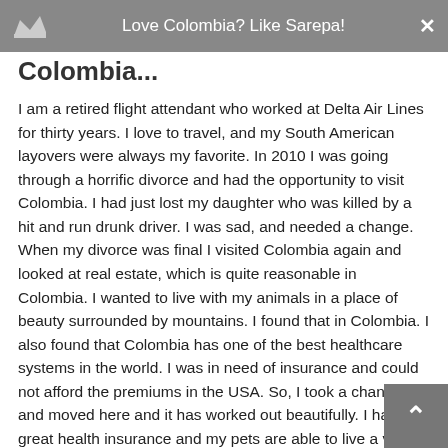Love Colombia? Like Sarepa!
Colombia...
I am a retired flight attendant who worked at Delta Air Lines for thirty years. I love to travel, and my South American layovers were always my favorite. In 2010 I was going through a horrific divorce and had the opportunity to visit Colombia. I had just lost my daughter who was killed by a hit and run drunk driver. I was sad, and needed a change. When my divorce was final I visited Colombia again and looked at real estate, which is quite reasonable in Colombia. I wanted to live with my animals in a place of beauty surrounded by mountains. I found that in Colombia. I also found that Colombia has one of the best healthcare systems in the world. I was in need of insurance and could not afford the premiums in the USA. So, I took a chance and moved here and it has worked out beautifully. I have great health insurance and my pets are able to live a very nice life, all the while I have rescued and I am living surrounded by mountains which was my dream... retirement. I never thought it would be in a foreign country, but I